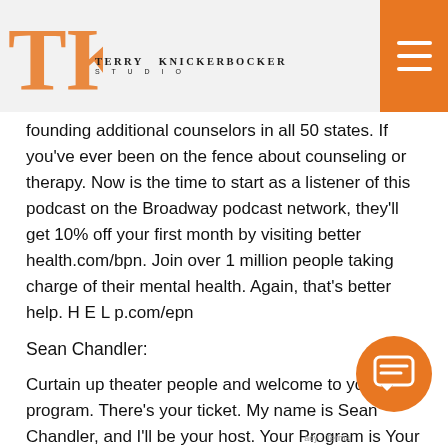Terry Knickerbocker Studio
founding additional counselors in all 50 states. If you've ever been on the fence about counseling or therapy. Now is the time to start as a listener of this podcast on the Broadway podcast network, they'll get 10% off your first month by visiting better health.com/bpn. Join over 1 million people taking charge of their mental health. Again, that's better help. H E L p.com/epn
Sean Chandler:
Curtain up theater people and welcome to your program. There's your ticket. My name is Sean Chandler, and I'll be your host. Your Program is Your Ticket as a discussion of smaller theater works and the people and organizations that make it happen as many of you know, your program is your ticket as a helpful system where your program is